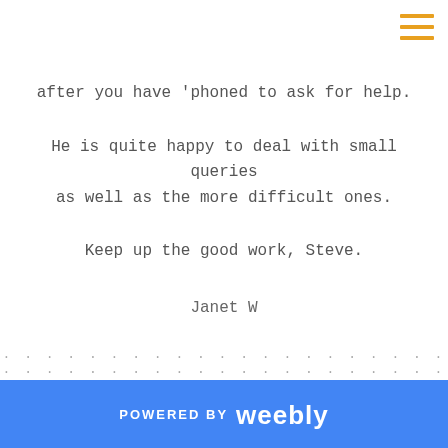' . . . . . . . . . . . . . . . . . . . . . . . . . . . . '
after you have 'phoned to ask for help.
He is quite happy to deal with small queries as well as the more difficult ones.
Keep up the good work, Steve.
Janet W
. . . . . . . . . . . . . . . . . . . . . . . . . . . . . . . . . . . . . . . . . . . . . . . . . . . . .
. . . . . . . . . . . . . . . . . . . . . . . . . . . . . . . . . . . . . . . . . . . . . . . . . . . . .
. . . . . . . . . .
POWERED BY weebly